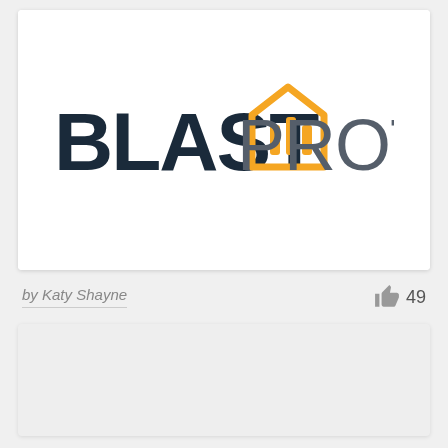[Figure (logo): Blast Protocol logo: bold dark navy text 'BLAST' followed by an orange house/rocket icon with vertical bars, then lighter gray text 'PROTOCOL']
by Katy Shayne
49
[Figure (other): A second card with light gray background, partially visible at the bottom of the page]